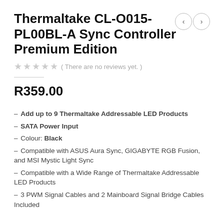Thermaltake CL-O015-PL00BL-A Sync Controller Premium Edition
( There are no reviews yet. )
R359.00
Add up to 9 Thermaltake Addressable LED Products
SATA Power Input
Colour: Black
Compatible with ASUS Aura Sync, GIGABYTE RGB Fusion, and MSI Mystic Light Sync
Compatible with a Wide Range of Thermaltake Addressable LED Products
3 PWM Signal Cables and 2 Mainboard Signal Bridge Cables Included